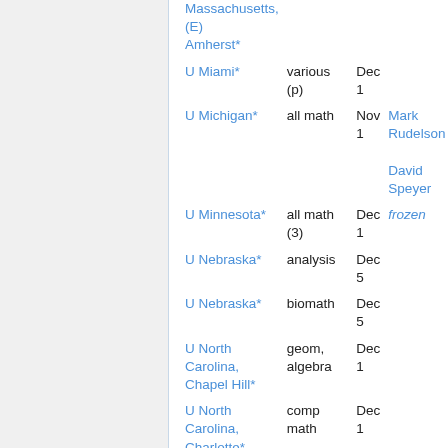| Institution | Area | Deadline | Notes |
| --- | --- | --- | --- |
| Massachusetts, (E) Amherst* |  |  |  |
| U Miami* | various (p) | Dec 1 |  |
| U Michigan* | all math | Nov 1 | Mark Rudelson
David Speyer |
| U Minnesota* | all math (3) | Dec 1 | frozen |
| U Nebraska* | analysis | Dec 5 |  |
| U Nebraska* | biomath | Dec 5 |  |
| U North Carolina, Chapel Hill* | geom, algebra | Dec 1 |  |
| U North Carolina, Charlotte* | comp math | Dec 1 |  |
| U North Texas* | logic | Dec 1 |  |
| U Oregon* | all math | Dec 13 |  |
| U Oregon* | probability | Dec 13 |  |
| U Pittsburgh* | algebra | Nov 30 |  |